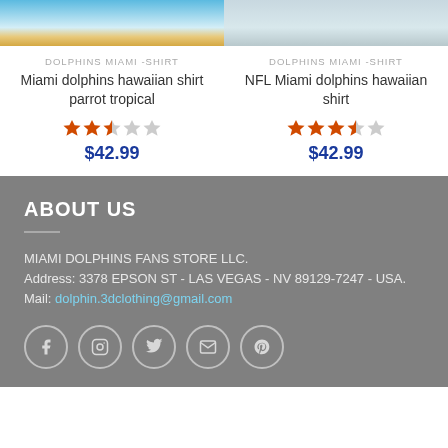[Figure (photo): Product image of Miami dolphins hawaiian shirt parrot tropical on beach background]
DOLPHINS MIAMI -SHIRT
Miami dolphins hawaiian shirt parrot tropical
[Figure (other): Star rating: approximately 2.5 out of 5 stars]
$42.99
[Figure (photo): Product image of NFL Miami dolphins hawaiian shirt on gray background]
DOLPHINS MIAMI -SHIRT
NFL Miami dolphins hawaiian shirt
[Figure (other): Star rating: approximately 3.5 out of 5 stars]
$42.99
ABOUT US
MIAMI DOLPHINS FANS STORE LLC.
Address: 3378 EPSON ST - LAS VEGAS - NV 89129-7247 - USA.
Mail: dolphin.3dclothing@gmail.com
[Figure (infographic): Social media icons: Facebook, Instagram, Twitter, Email, Pinterest]